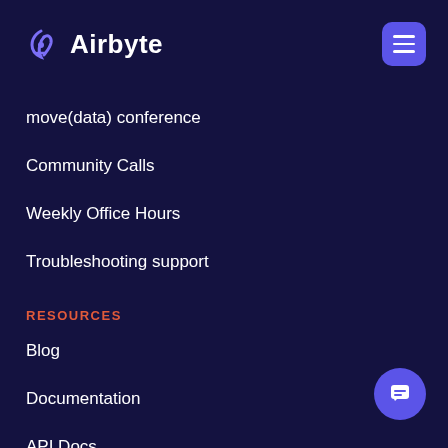[Figure (logo): Airbyte logo with purple stylized icon and white text 'Airbyte']
[Figure (other): Purple rounded rectangle hamburger menu button with three white horizontal bars]
move(data) conference
Community Calls
Weekly Office Hours
Troubleshooting support
RESOURCES
Blog
Documentation
API Docs
[Figure (other): Purple circle chat/support button with white speech bubble icon]